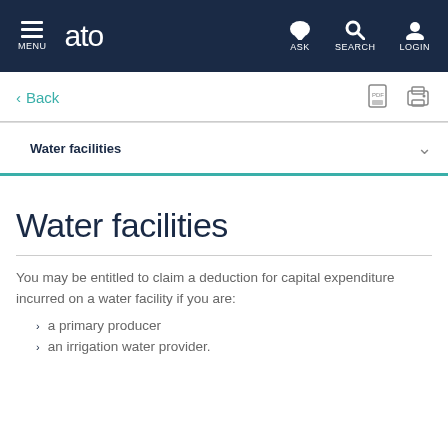MENU  ato  ASK  SEARCH  LOGIN
< Back
Water facilities
Water facilities
You may be entitled to claim a deduction for capital expenditure incurred on a water facility if you are:
a primary producer
an irrigation water provider.